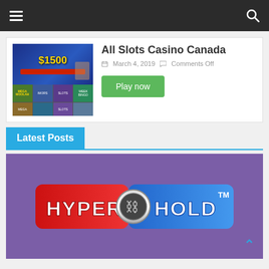Navigation bar with hamburger menu and search icon
[Figure (screenshot): All Slots Casino Canada promotional banner showing $1500 bonus and game thumbnails]
All Slots Casino Canada
March 4, 2019   Comments Off
Play now
Latest Posts
[Figure (screenshot): Hyper Hold logo/banner on purple background]